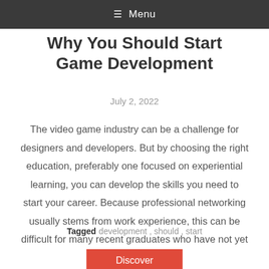☰ Menu
Why You Should Start Game Development
July 2, 2022
The video game industry can be a challenge for designers and developers. But by choosing the right education, preferably one focused on experiential learning, you can develop the skills you need to start your career. Because professional networking usually stems from work experience, this can be difficult for many recent graduates who have not yet […]
Tagged development , should , start
Discover